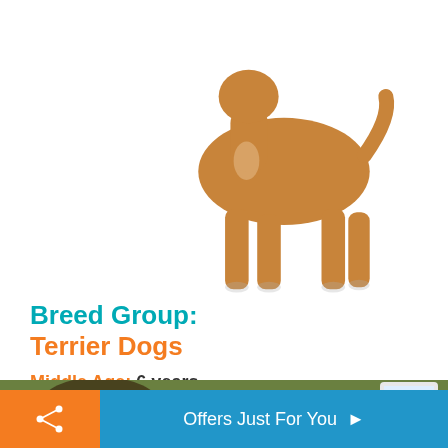[Figure (photo): A tan/golden dog (terrier breed) photographed from the side against a white background, showing the body from mid-section downward with all four legs visible.]
Breed Group:
Terrier Dogs
Middle Age: 6 years
Geriatric Age: 12 years
Life Span: 12 to 15 years
[Figure (photo): Partial bottom photo strip showing a dog outdoors on grass, partially cut off, with a white logo/icon in the top right corner.]
Offers Just For You ▶